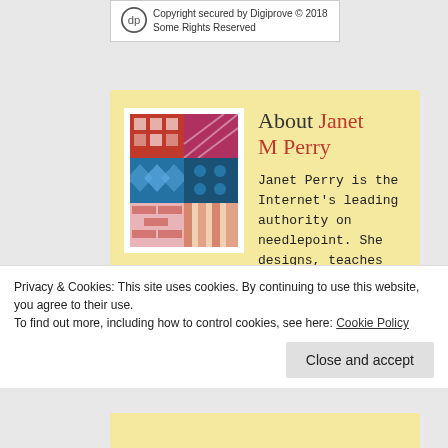Copyright secured by Digiprove © 2018
Some Rights Reserved
About Janet M Perry
[Figure (photo): Profile photo of Janet M Perry showing colorful needlepoint textile designs]
Janet Perry is the Internet's leading authority on needlepoint. She designs, teaches and writes, getting raves from her fans for
Privacy & Cookies: This site uses cookies. By continuing to use this website, you agree to their use.
To find out more, including how to control cookies, see here: Cookie Policy
Close and accept